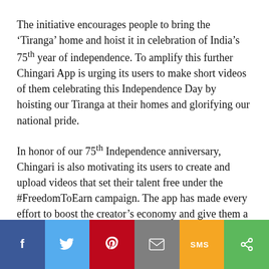The initiative encourages people to bring the 'Tiranga' home and hoist it in celebration of India's 75th year of independence. To amplify this further Chingari App is urging its users to make short videos of them celebrating this Independence Day by hoisting our Tiranga at their homes and glorifying our national pride.
In honor of our 75th Independence anniversary, Chingari is also motivating its users to create and upload videos that set their talent free under the #FreedomToEarn campaign. The app has made every effort to boost the creator's economy and give them a platform to showcase their talents.
[Figure (infographic): Social sharing bar with six buttons: Facebook (blue), Twitter (light blue), Pinterest (red), Email (gray), SMS (yellow/orange), Share (green)]